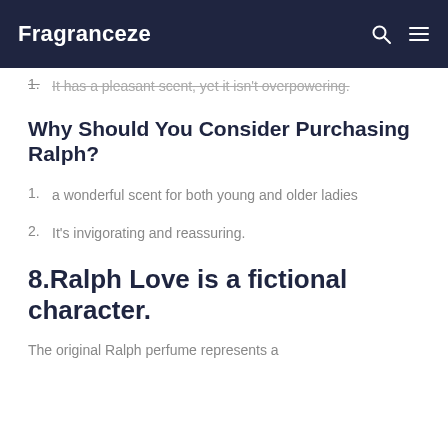Fragranceze
1. It has a pleasant scent, yet it isn't overpowering.
Why Should You Consider Purchasing Ralph?
1. a wonderful scent for both young and older ladies
2. It's invigorating and reassuring.
8.Ralph Love is a fictional character.
The original Ralph perfume represents a